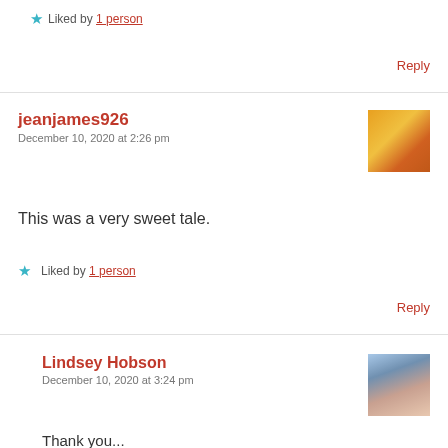★ Liked by 1 person
Reply
jeanjames926
December 10, 2020 at 2:26 pm
[Figure (photo): Avatar thumbnail showing orange/yellow flowers]
This was a very sweet tale.
★ Liked by 1 person
Reply
Lindsey Hobson
December 10, 2020 at 3:24 pm
[Figure (photo): Avatar thumbnail showing a woman with blonde hair outdoors]
Thank you...